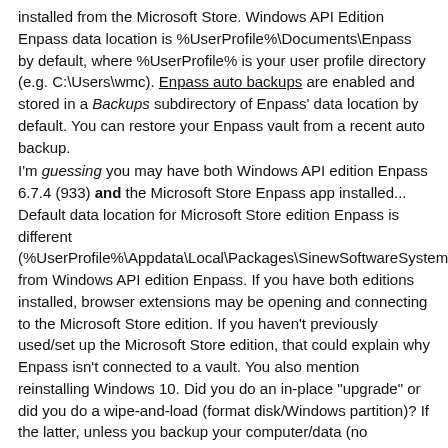installed from the Microsoft Store. Windows API Edition Enpass data location is %UserProfile%\Documents\Enpass by default, where %UserProfile% is your user profile directory (e.g. C:\Users\wmc). Enpass auto backups are enabled and stored in a Backups subdirectory of Enpass' data location by default. You can restore your Enpass vault from a recent auto backup.
I'm guessing you may have both Windows API edition Enpass 6.7.4 (933) and the Microsoft Store Enpass app installed... Default data location for Microsoft Store edition Enpass is different (%UserProfile%\Appdata\Local\Packages\SinewSoftwareSystems.EnpassPasswordManager...) from Windows API edition Enpass. If you have both editions installed, browser extensions may be opening and connecting to the Microsoft Store edition. If you haven't previously used/set up the Microsoft Store edition, that could explain why Enpass isn't connected to a vault. You also mention reinstalling Windows 10. Did you do an in-place "upgrade" or did you do a wipe-and-load (format disk/Windows partition)? If the latter, unless you backup your computer/data (no excuses, this is 2022 after all) or use Enpass native cloud-sync capability (Dropbox, Google Drive, etc), your Enpass vault is toast. A few recommendations:
Don't hijack forum threads  @lvarson  response was spot